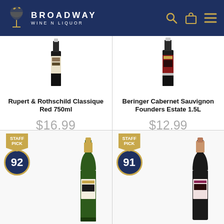BROADWAY WINE N LIQUOR
[Figure (photo): Rupert & Rothschild Classique Red 750ml wine bottle]
Rupert & Rothschild Classique Red 750ml
$16.99
[Figure (photo): Beringer Cabernet Sauvignon Founders Estate 1.5L wine bottle]
Beringer Cabernet Sauvignon Founders Estate 1.5L
$12.99
SOLD OUT
[Figure (photo): Staff Pick badge with score 92 and champagne bottle (Veuve Clicquot style)]
[Figure (photo): Staff Pick badge with score 91 and rose champagne bottle]